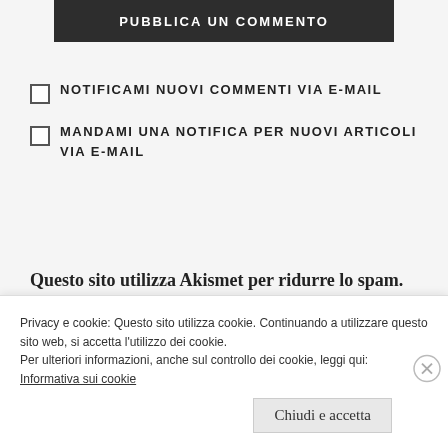PUBBLICA UN COMMENTO
NOTIFICAMI NUOVI COMMENTI VIA E-MAIL
MANDAMI UNA NOTIFICA PER NUOVI ARTICOLI VIA E-MAIL
Questo sito utilizza Akismet per ridurre lo spam. Scopri come vengono elaborati i dati derivati dai commenti.
Privacy e cookie: Questo sito utilizza cookie. Continuando a utilizzare questo sito web, si accetta l'utilizzo dei cookie. Per ulteriori informazioni, anche sul controllo dei cookie, leggi qui: Informativa sui cookie
Chiudi e accetta